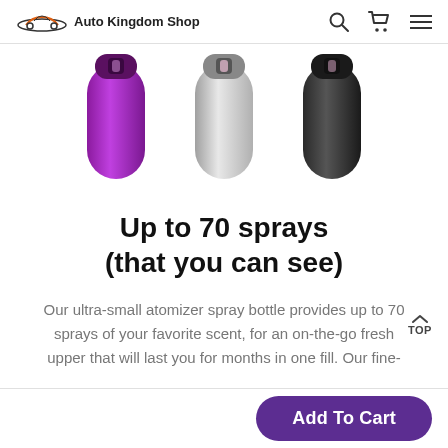Auto Kingdom Shop
[Figure (photo): Three atomizer spray bottles side by side: purple/violet on the left, silver/chrome in the center, and black on the right. All are small capsule-shaped perfume atomizers with dark tops.]
Up to 70 sprays (that you can see)
Our ultra-small atomizer spray bottle provides up to 70 sprays of your favorite scent, for an on-the-go freshener upper that will last you for months in one fill. Our fine-